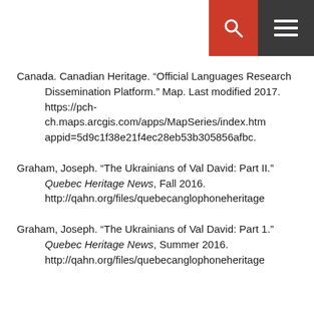SEARCH
Canada. Canadian Heritage. “Official Languages Research Dissemination Platform.” Map. Last modified 2017. https://pch-ch.maps.arcgis.com/apps/MapSeries/index.htm appid=5d9c1f38e21f4ec28eb53b305856afbc.
Graham, Joseph. “The Ukrainians of Val David: Part II.” Quebec Heritage News, Fall 2016. http://qahn.org/files/quebecanglophoneheritage
Graham, Joseph. “The Ukrainians of Val David: Part 1.” Quebec Heritage News, Summer 2016. http://qahn.org/files/quebecanglophoneheritage